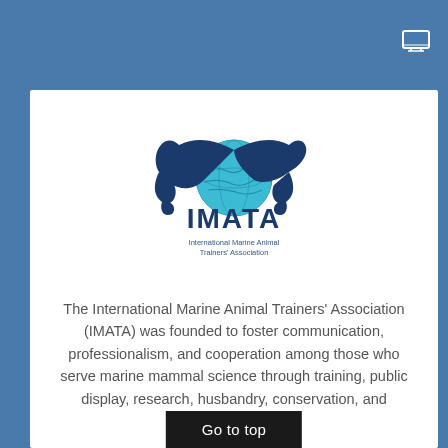[Figure (logo): IMATA logo: two dark blue dolphins arcing around a teal globe with world map; text below reads IMATA and International Marine Animal Trainers' Association]
The International Marine Animal Trainers' Association (IMATA) was founded to foster communication, professionalism, and cooperation among those who serve marine mammal science through training, public display, research, husbandry, conservation, and education.
Go to top